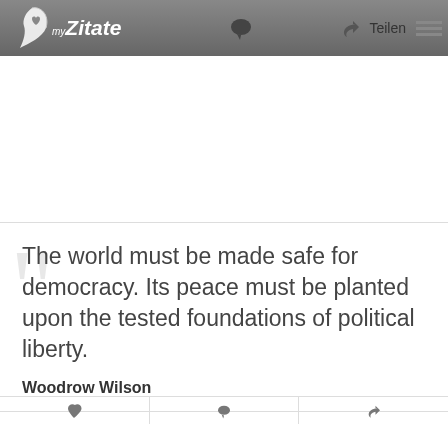myZitate — Teilen
The world must be made safe for democracy. Its peace must be planted upon the tested foundations of political liberty.
Woodrow Wilson